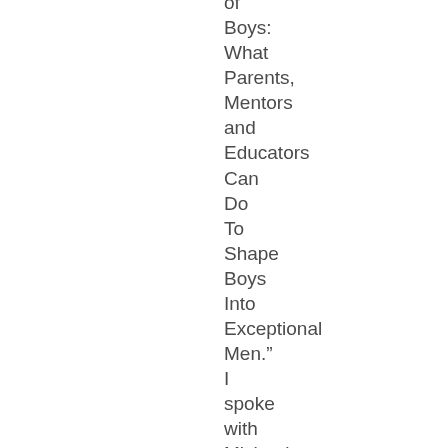of Boys: What Parents, Mentors and Educators Can Do To Shape Boys Into Exceptional Men." I spoke with Michael Gurian in January of 1998 from his